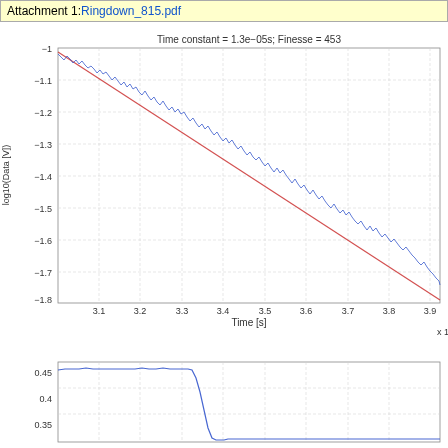Attachment 1: Ringdown_815.pdf
[Figure (continuous-plot): Ringdown decay plot showing log10(Data [V]) vs Time [s]. A noisy blue exponential decay trace and a smooth red linear fit line. Title: Time constant = 1.3e-05s; Finesse = 453. Y-axis from about -1.0 to -1.8, X-axis from about 3.1 to 3.9 (x10^-4 or similar scale), labeled Time [s] with x1 notation at right.]
[Figure (continuous-plot): Lower portion of another plot showing a blue trace that rises to about 0.45-0.46, holds flat, then drops sharply. Y-axis labels visible: 0.45, 0.4, and partially 0.35.]